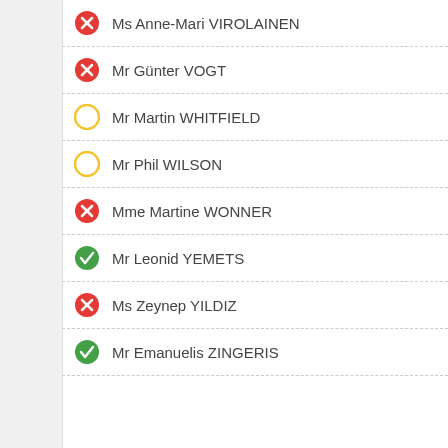Ms Anne-Mari VIROLAINEN
Mr Günter VOGT
Mr Martin WHITFIELD
Mr Phil WILSON
Mme Martine WONNER
Mr Leonid YEMETS
Ms Zeynep YILDIZ
Mr Emanuelis ZINGERIS